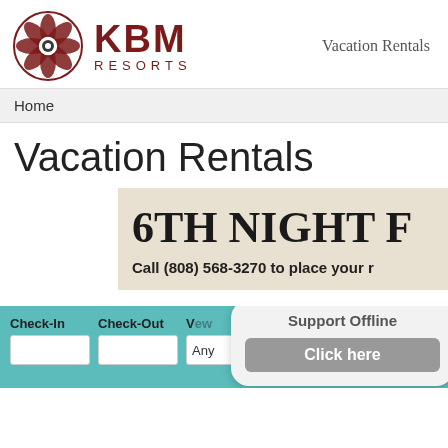[Figure (logo): KBM Resorts logo: circular floral/mandala design in dark red with KBM text in large bold dark red letters and RESORTS in spaced capitals below]
Vacation Rentals
Home
Vacation Rentals
6TH NIGHT F
Call (808) 568-3270 to place your r
Check-In
Check-Out
View
Any
Support Offline
Click here
Re